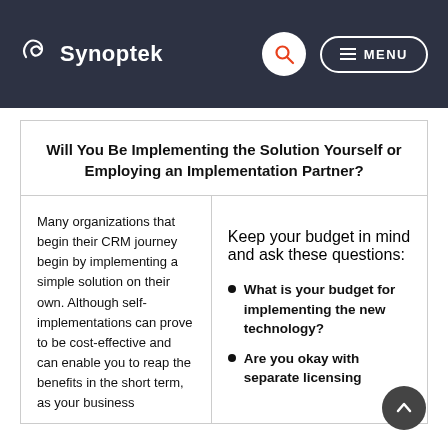Synoptek
Will You Be Implementing the Solution Yourself or Employing an Implementation Partner?
Many organizations that begin their CRM journey begin by implementing a simple solution on their own. Although self-implementations can prove to be cost-effective and can enable you to reap the benefits in the short term, as your business
Keep your budget in mind and ask these questions:
What is your budget for implementing the new technology?
Are you okay with separate licensing